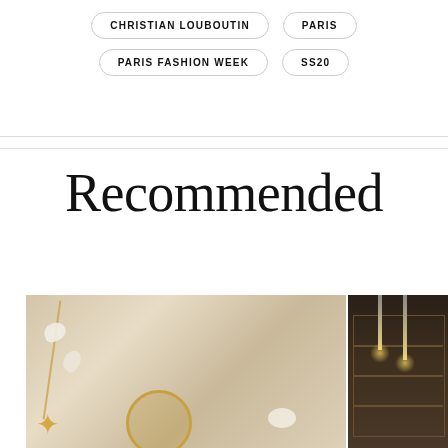CHRISTIAN LOUBOUTIN
PARIS
PARIS FASHION WEEK
SS20
Recommended
[Figure (photo): A gold necklace with a round locket pendant lying on white sand with seashells and a starfish]
[Figure (photo): Interior of a bar or restaurant with illuminated shelves displaying bottles and warm pendant lighting]